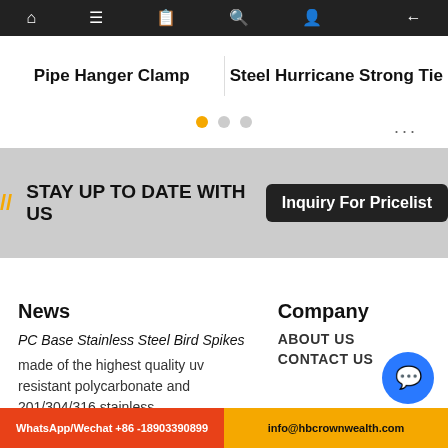Navigation bar with home, menu, book, search, user icons and back arrow
Pipe Hanger Clamp
Steel Hurricane Strong Tie
...
// STAY UP TO DATE WITH US
Inquiry For Pricelist
News
Company
PC Base Stainless Steel Bird Spikes
made of the highest quality uv resistant polycarbonate and 201/304/316 stainless
ABOUT US
CONTACT US
WhatsApp/Wechat +86 -18903390899
info@hbcrownwealth.com